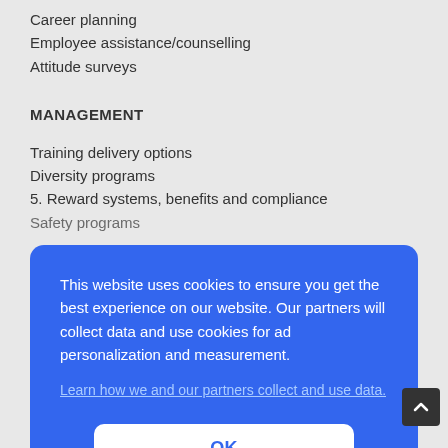Career planning
Employee assistance/counselling
Attitude surveys
MANAGEMENT
Training delivery options
Diversity programs
5. Reward systems, benefits and compliance
Safety programs
This website uses cookies to ensure you get the best experience on our website. Our partners will collect data and use cookies for ad personalization and measurement.
Learn how we and our partners collect and use data.
OK
3